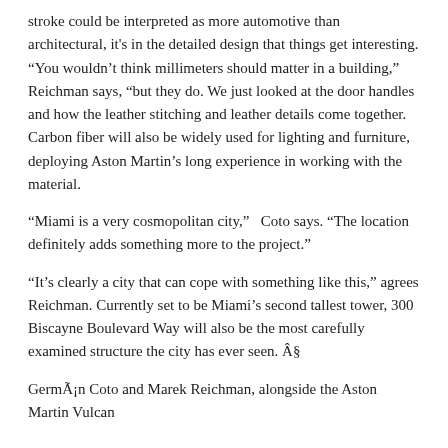stroke could be interpreted as more automotive than architectural, it's in the detailed design that things get interesting. “You wouldn't think millimeters should matter in a building,” Reichman says, “but they do. We just looked at the door handles and how the leather stitching and leather details come together. Carbon fiber will also be widely used for lighting and furniture, deploying Aston Martin’s long experience in working with the material.
“Miami is a very cosmopolitan city,” Coto says. “The location definitely adds something more to the project.”
“It’s clearly a city that can cope with something like this,” agrees Reichman. Currently set to be Miami’s second tallest tower, 300 Biscayne Boulevard Way will also be the most carefully examined structure the city has ever seen. §
Germán Coto and Marek Reichman, alongside the Aston Martin Vulcan